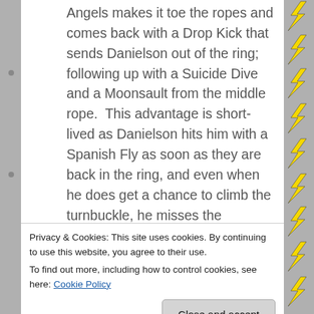Angels makes it toe the ropes and comes back with a Drop Kick that sends Danielson out of the ring; following up with a Suicide Dive and a Moonsault from the middle rope.  This advantage is short-lived as Danielson hits him with a Spanish Fly as soon as they are back in the ring, and even when he does get a chance to climb the turnbuckle, he misses the Moonsault and eats a Running Knee from Danielson.  He doesn't go for the pin, however!  Instead, he starts stomping on Angels' face as he did to Colt Cabana; thankfully with no lost teeth, at least as far as I could
Privacy & Cookies: This site uses cookies. By continuing to use this website, you agree to their use.
To find out more, including how to control cookies, see here: Cookie Policy
Close and accept
NOT true, but I guess they have to keep up this